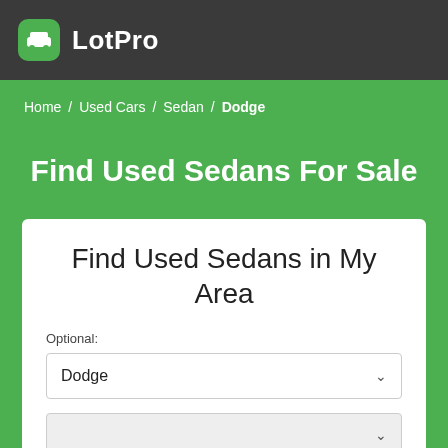LotPro
Home / Used Cars / Sedan / Dodge
Find Used Sedans For Sale
Find Used Sedans in My Area
Optional:
Dodge